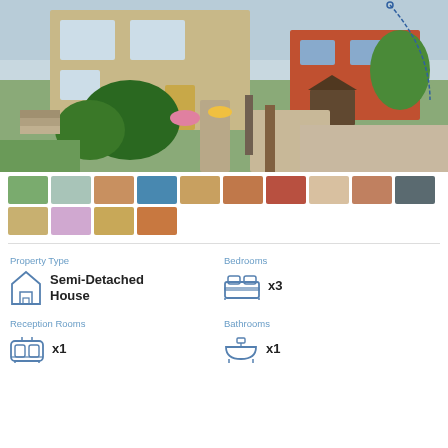[Figure (photo): Exterior photo of a semi-detached house with a front garden, plants, pathway, and brick facade]
[Figure (photo): Thumbnail gallery strip 1: 10 property interior/exterior photos]
[Figure (photo): Thumbnail gallery strip 2: 4 additional property interior/exterior photos]
Property Type
Semi-Detached House
Bedrooms
x3
Reception Rooms
x1
Bathrooms
x1